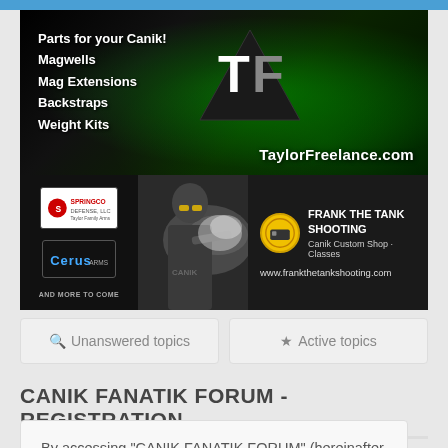[Figure (illustration): TaylorFreelance.com advertisement banner with green glow logo, listing: Parts for your Canik!, Magwells, Mag Extensions, Backstraps, Weight Kits]
[Figure (photo): Frank The Tank Shooting advertisement with shooter photo, Canik Custom Shop, Classes, www.frankthetankshooting.com]
Unanswered topics
Active topics
CANIK FANATIK FORUM - REGISTRATION
By accessing "CANIK FANATIK FORUM" (hereinafter "we", "us", "our", "CANIK FANATIK FORUM", "https://canikfanatikforum.com"), you agree to be legally bound by the following terms. If you do not agree to be legally bound by all of the following terms then please do